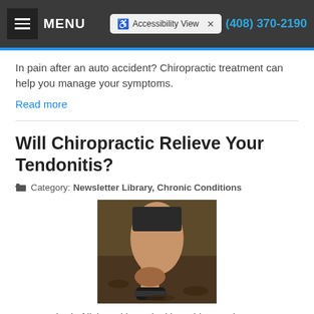MENU | Accessibility View | (408) 370-2190
In pain after an auto accident? Chiropractic treatment can help you manage your symptoms.
Read more
Will Chiropractic Relieve Your Tendonitis?
Category: Newsletter Library, Chronic Conditions
[Figure (photo): Person holding their ankle/foot near the ground, possibly showing tendonitis pain]
Are you tired of living with tendonitis? Chiropractic can